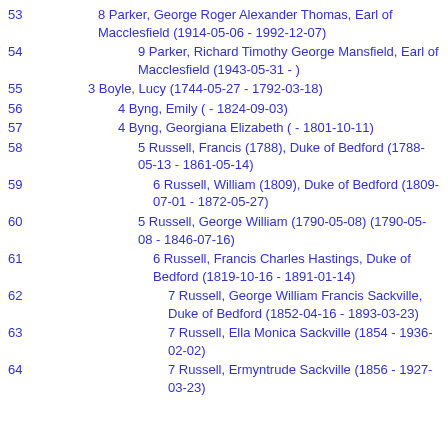53  8 Parker, George Roger Alexander Thomas, Earl of Macclesfield (1914-05-06 - 1992-12-07)
54  9 Parker, Richard Timothy George Mansfield, Earl of Macclesfield (1943-05-31 - )
55  3 Boyle, Lucy (1744-05-27 - 1792-03-18)
56  4 Byng, Emily ( - 1824-09-03)
57  4 Byng, Georgiana Elizabeth ( - 1801-10-11)
58  5 Russell, Francis (1788), Duke of Bedford (1788-05-13 - 1861-05-14)
59  6 Russell, William (1809), Duke of Bedford (1809-07-01 - 1872-05-27)
60  5 Russell, George William (1790-05-08) (1790-05-08 - 1846-07-16)
61  6 Russell, Francis Charles Hastings, Duke of Bedford (1819-10-16 - 1891-01-14)
62  7 Russell, George William Francis Sackville, Duke of Bedford (1852-04-16 - 1893-03-23)
63  7 Russell, Ella Monica Sackville (1854 - 1936-02-02)
64  7 Russell, Ermyntrude Sackville (1856 - 1927-03-23)